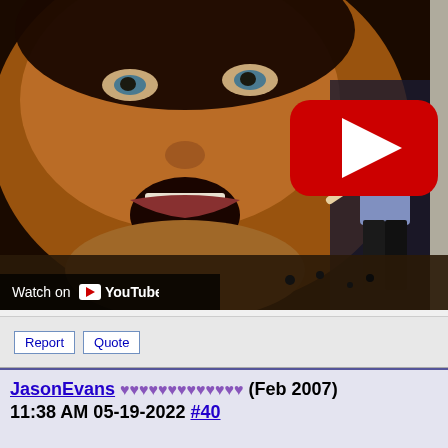[Figure (screenshot): YouTube video thumbnail showing a close-up of a person's face with mouth open, and a male performer in the background. A red YouTube play button is visible in the center. A 'Watch on YouTube' bar appears at the bottom left.]
Report   Quote
JasonEvans ♥♥♥♥♥♥♥♥♥♥♥♥♥ (Feb 2007) 11:38 AM 05-19-2022 #40